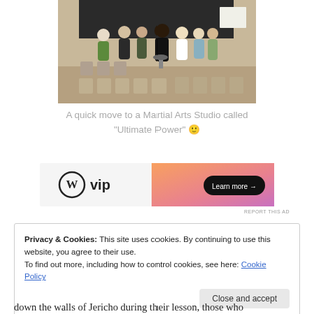[Figure (photo): Indoor scene showing a group of people standing and sitting in a room with folding chairs, viewed from behind, with a dark backdrop or stage at the front. Appears to be a martial arts studio or community hall.]
A quick move to a Martial Arts Studio called “Ultimate Power” 🙂
[Figure (screenshot): WordPress VIP advertisement banner with orange/pink gradient on the right side and a 'Learn more →' button on a dark pill-shaped button.]
REPORT THIS AD
Privacy & Cookies: This site uses cookies. By continuing to use this website, you agree to their use.
To find out more, including how to control cookies, see here: Cookie Policy
Close and accept
down the walls of Jericho during their lesson, those who